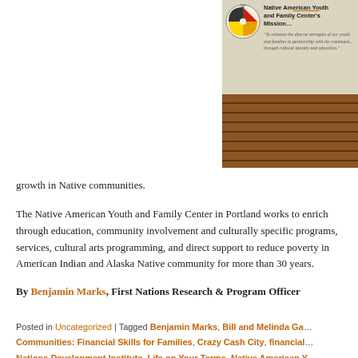[Figure (photo): Photo of a banner for the Native American Youth and Family Center with logo and mission statement, mounted on a brick wall. Banner text reads: 'Native American Youth and Family Center's Mission...' with italic mission quote below.]
growth in Native communities.
The Native American Youth and Family Center in Portland works to enrich through education, community involvement and culturally specific programs, services, cultural arts programming, and direct support to reduce poverty in American Indian and Alaska Native community for more than 30 years.
By Benjamin Marks, First Nations Research & Program Officer
Posted in Uncategorized | Tagged Benjamin Marks, Bill and Melinda Ga... Communities: Financial Skills for Families, Crazy Cash City, financial... Nations Development Institute, Life on Your Terms, Native American Y... students, NAYA, Oregon, Oweesta, Paul G. Allen, Portland, Youth Sa...